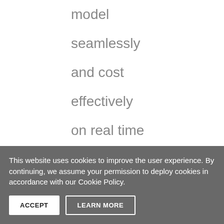model seamlessly and cost effectively on real time basis, using virtual prototyping and virtual testing, before physical prototyping and testing
This website uses cookies to improve the user experience. By continuing, we assume your permission to deploy cookies in accordance with our Cookie Policy.